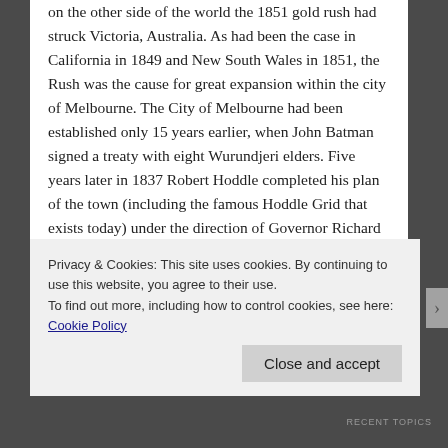on the other side of the world the 1851 gold rush had struck Victoria, Australia. As had been the case in California in 1849 and New South Wales in 1851, the Rush was the cause for great expansion within the city of Melbourne. The City of Melbourne had been established only 15 years earlier, when John Batman signed a treaty with eight Wurundjeri elders. Five years later in 1837 Robert Hoddle completed his plan of the town (including the famous Hoddle Grid that exists today) under the direction of Governor Richard Bourke. In 1847 it was declared a City by letters patent from Queen Victoria, and within ten years it was inundated with gold seeking migrants, taking the population of the city from 29,000 in 1851 to 123,000 in 1861.
Privacy & Cookies: This site uses cookies. By continuing to use this website, you agree to their use.
To find out more, including how to control cookies, see here: Cookie Policy